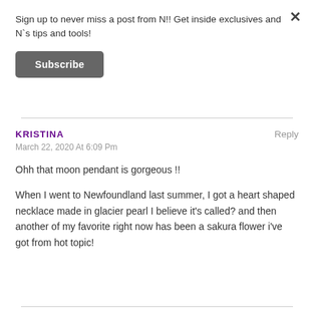Sign up to never miss a post from N!! Get inside exclusives and N`s tips and tools!
Subscribe
KRISTINA
Reply
March 22, 2020 At 6:09 Pm
Ohh that moon pendant is gorgeous !!
When I went to Newfoundland last summer, I got a heart shaped necklace made in glacier pearl I believe it’s called? and then another of my favorite right now has been a sakura flower i’ve got from hot topic!